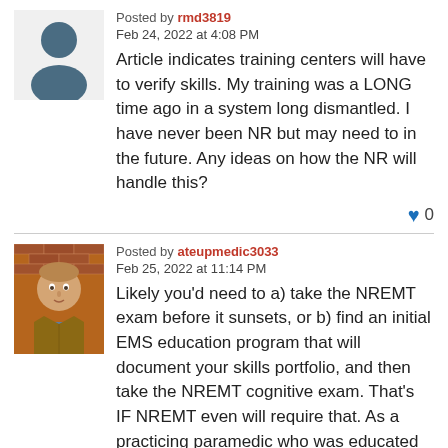[Figure (illustration): Generic user silhouette avatar icon in dark blue/teal]
Posted by rmd3819
Feb 24, 2022 at 4:08 PM
Article indicates training centers will have to verify skills. My training was a LONG time ago in a system long dismantled. I have never been NR but may need to in the future. Any ideas on how the NR will handle this?
[Figure (illustration): Heart/like icon in blue with count 0]
[Figure (photo): Profile photo of a man with light brown hair wearing a blue shirt and brown jacket, with brick wall background]
Posted by ateupmedic3033
Feb 25, 2022 at 11:14 PM
Likely you'd need to a) take the NREMT exam before it sunsets, or b) find an initial EMS education program that will document your skills portfolio, and then take the NREMT cognitive exam. That's IF NREMT even will require that. As a practicing paramedic who was educated under DOT standards, they